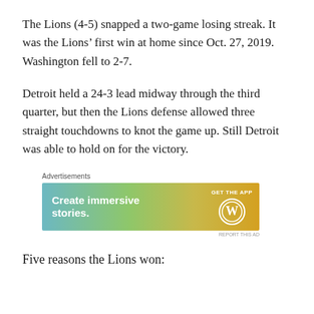The Lions (4-5) snapped a two-game losing streak. It was the Lions' first win at home since Oct. 27, 2019. Washington fell to 2-7.
Detroit held a 24-3 lead midway through the third quarter, but then the Lions defense allowed three straight touchdowns to knot the game up. Still Detroit was able to hold on for the victory.
[Figure (other): Advertisement banner for WordPress: 'Create immersive stories. GET THE APP' with WordPress logo on gradient background (teal to gold).]
Five reasons the Lions won: